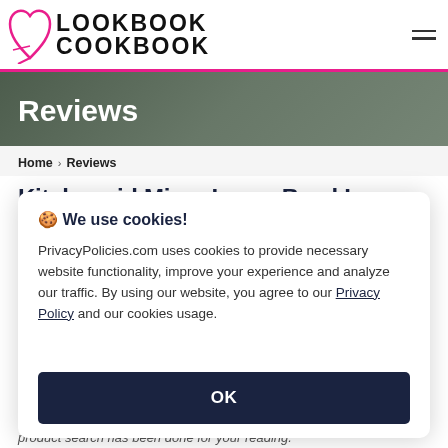LOOKBOOK COOKBOOK
Reviews
Home > Reviews
Kitchenaid Mixer Large Bowl In
🍪 We use cookies!
PrivacyPolicies.com uses cookies to provide necessary website functionality, improve your experience and analyze our traffic. By using our website, you agree to our Privacy Policy and our cookies usage.
OK
product search has been done for your reading.